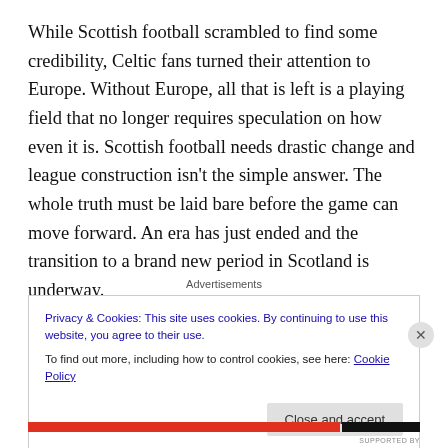While Scottish football scrambled to find some credibility, Celtic fans turned their attention to Europe. Without Europe, all that is left is a playing field that no longer requires speculation on how even it is. Scottish football needs drastic change and league construction isn't the simple answer. The whole truth must be laid bare before the game can move forward. An era has just ended and the transition to a brand new period in Scotland is underway.
Advertisements
Privacy & Cookies: This site uses cookies. By continuing to use this website, you agree to their use.
To find out more, including how to control cookies, see here: Cookie Policy
Close and accept